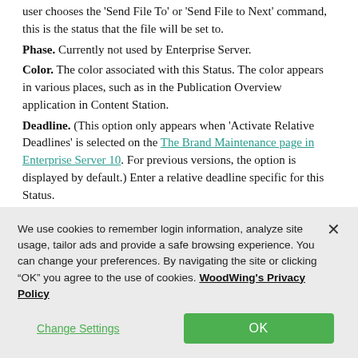user chooses the 'Send File To' or 'Send File to Next' command, this is the status that the file will be set to.
Phase. Currently not used by Enterprise Server.
Color. The color associated with this Status. The color appears in various places, such as in the Publication Overview application in Content Station.
Deadline. (This option only appears when 'Activate Relative Deadlines' is selected on the The Brand Maintenance page in Enterprise Server 10. For previous versions, the option is displayed by default.) Enter a relative deadline specific for this Status.
We use cookies to remember login information, analyze site usage, tailor ads and provide a safe browsing experience. You can change your preferences. By navigating the site or clicking "OK" you agree to the use of cookies. WoodWing's Privacy Policy
Change Settings
OK